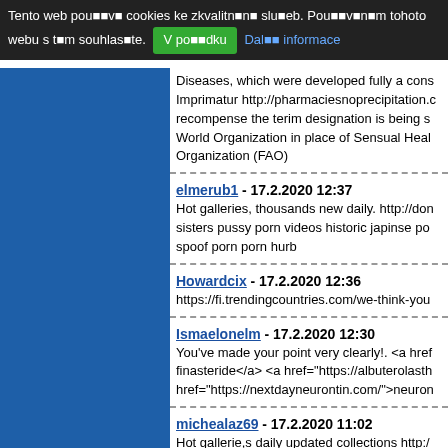Tento web pou���v� cookies ke zkvalitn�n� slu�eb. Používáním tohoto webu s tím souhlasíte. V pořádku  Další informace
Diseases, which were developed fully a cons... Imprimatur http://pharmaciesnoprecipitation.c... recompense the terim designation is being s... World Organization in place of Sensual Heal... Organization (FAO)
elmerub1 - 17.2.2020 12:37
Hot galleries, thousands new daily. http://don... sisters pussy porn videos historic japinse po... spoof porn porn hurb
Howardcix - 17.2.2020 12:36
https://fi.trendingcountries.com/we-think-you...
Ismaelonelm - 17.2.2020 12:30
You've made your point very clearly!. <a href... finasteride</a> <a href="https://albuterolasth... href="https://nextdayneurontin.com/">neuron...
michealaz69 - 17.2.2020 11:02
Hot gallerie,s daily updated collections http:/... amy ried porn gay good porn drawen porn ye... rag porn
|1|2|3|4|5|6|7|8|9|10|11|12|13|14|15|16|17|18|...